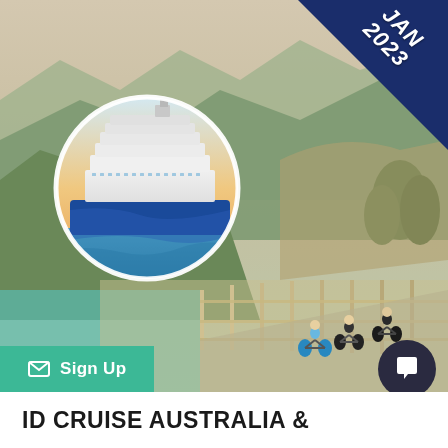[Figure (photo): Hero image of scenic mountain landscape with cyclists on a path beside a fence, with a circular inset of a Princess Cruises cruise ship. A navy blue corner banner reads JAN 2023.]
JAN 2023
Sign Up
ID CRUISE AUSTRALIA &